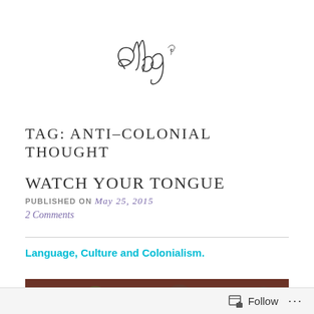[Figure (logo): Handwritten cursive script logo reading 'elbg' with a small butterfly illustration, in black ink on white background]
TAG: ANTI-COLONIAL THOUGHT
WATCH YOUR TONGUE
PUBLISHED ON May 25, 2015
2 Comments
Language, Culture and Colonialism.
[Figure (photo): Partial view of a decorative textile or carpet with floral and ornamental patterns in dark red, gold, and green colors]
Follow ...